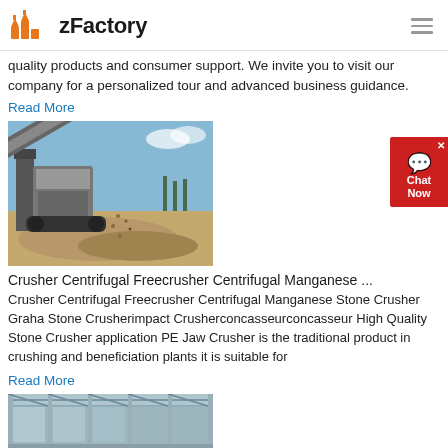zFactory
quality products and consumer support. We invite you to visit our company for a personalized tour and advanced business guidance.
Read More
[Figure (photo): Industrial stone crusher / screening machine operating outdoors on a dirt site, with crushed material falling off a conveyor belt.]
Crusher Centrifugal Freecrusher Centrifugal Manganese ...
Crusher Centrifugal Freecrusher Centrifugal Manganese Stone Crusher Graha Stone Crusherimpact Crusherconcasseurconcasseur High Quality Stone Crusher application PE Jaw Crusher is the traditional product in crushing and beneficiation plants it is suitable for
Read More
[Figure (photo): Interior of an industrial factory or warehouse with steel structure and natural lighting.]